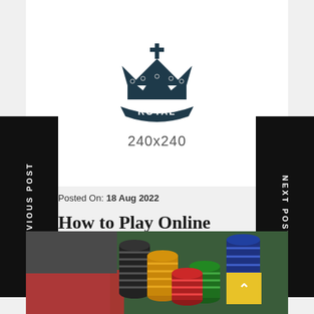[Figure (logo): Royal crown logo with banner reading ROYAL and placeholder text 240x240]
Posted On: 18 Aug 2022
How to Play Online Sabong: A Guide for Beginners
PREVIOUS POST
NEXT POST
[Figure (photo): Stacks of casino poker chips in various colors on a gaming table surface]